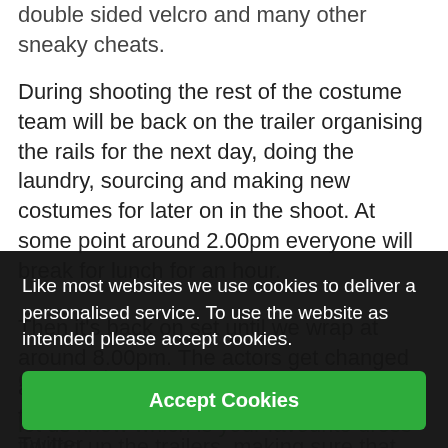double sided velcro and many other sneaky cheats.
During shooting the rest of the costume team will be back on the trailer organising the rails for the next day, doing the laundry, sourcing and making new costumes for later on in the shoot. At some point around 2.00pm everyone will break for lunch for an hour.
Then it's back on set until we wrap at around 8.00pm. The actors get changed and go home while we finish putting together everything for the next day, tidying up the trailers, making sure that everything has a label on it and is ready to start all over again.
Like most websites we use cookies to deliver a personalised service. To use the website as intended please accept cookies.
Accept Cookies
let us know which is your favourite dress on Twitter.